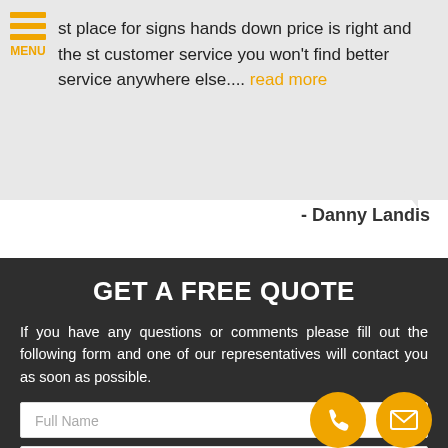st place for signs hands down price is right and the st customer service you won't find better service anywhere else.... read more
- Danny Landis
GET A FREE QUOTE
If you have any questions or comments please fill out the following form and one of our representatives will contact you as soon as possible.
Full Name
Best Phone
Email Address